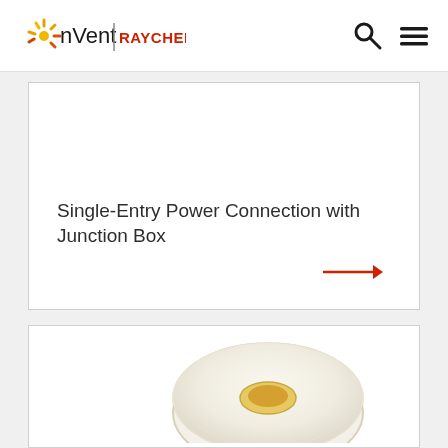nVent RAYCHEM
Single-Entry Power Connection with Junction Box
[Figure (photo): Circular product photo partially visible — appears to be an electrical tape or cable reel product, white/cream colored, showing at the bottom of the second card.]